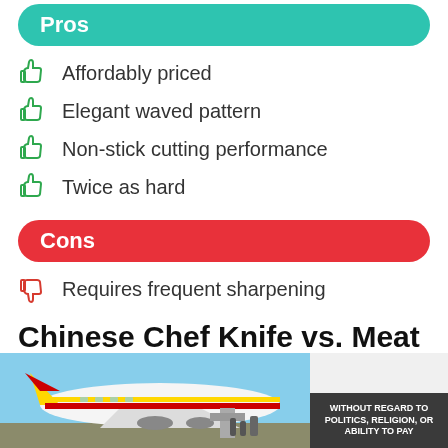Pros
Affordably priced
Elegant waved pattern
Non-stick cutting performance
Twice as hard
Cons
Requires frequent sharpening
Chinese Chef Knife vs. Meat Cleaver – Key Differences
...
[Figure (photo): Advertisement banner showing an airplane being loaded with cargo, with text 'WITHOUT REGARD TO POLITICS, RELIGION, OR ABILITY TO PAY']